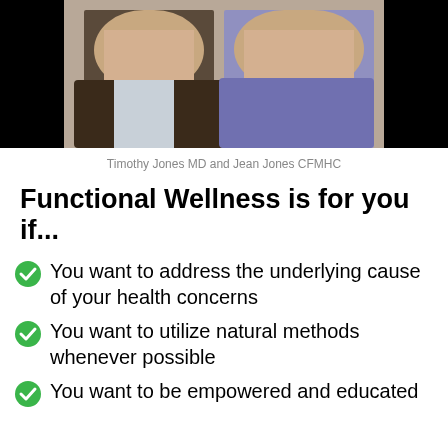[Figure (photo): Photo of Timothy Jones MD and Jean Jones CFMHC, a man and woman posing together]
Timothy Jones MD and Jean Jones CFMHC
Functional Wellness is for you if...
You want to address the underlying cause of your health concerns
You want to utilize natural methods whenever possible
You want to be empowered and educated